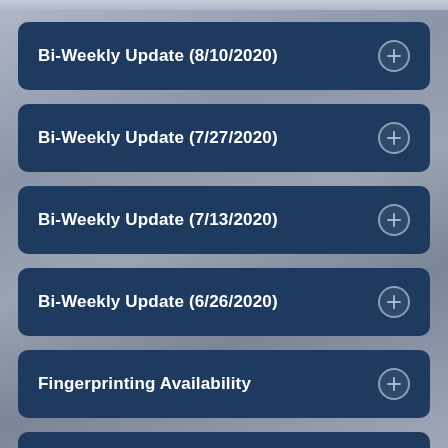Bi-Weekly Update (8/10/2020)
Bi-Weekly Update (7/27/2020)
Bi-Weekly Update (7/13/2020)
Bi-Weekly Update (6/26/2020)
Fingerprinting Availability
Weekly Update (6/19/2020)